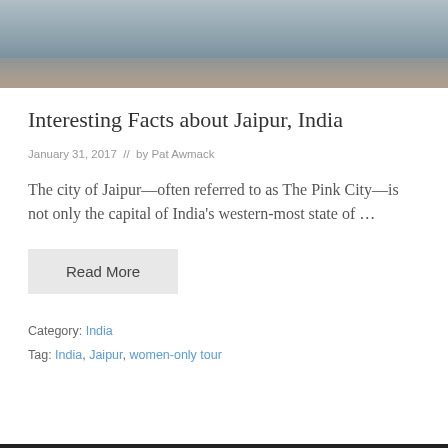[Figure (photo): Waterfront or lake scene with muted gray-blue tones and warm reflection tones at bottom, partially cropped]
Interesting Facts about Jaipur, India
January 31, 2017  //  by Pat Awmack
The city of Jaipur—often referred to as The Pink City—is not only the capital of India's western-most state of …
Read More
Category: India
Tag: India, Jaipur, women-only tour